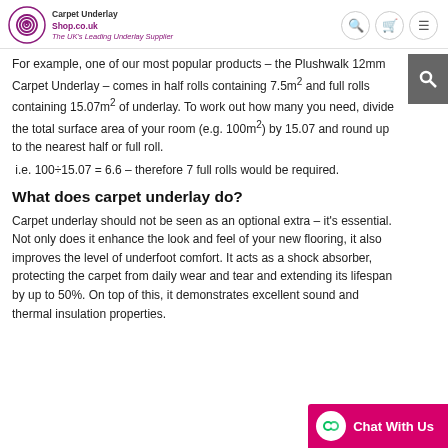Carpet Underlay Shop.co.uk – The UK's Leading Underlay Supplier
For example, one of our most popular products – the Plushwalk 12mm Carpet Underlay – comes in half rolls containing 7.5m² and full rolls containing 15.07m² of underlay. To work out how many you need, divide the total surface area of your room (e.g. 100m²) by 15.07 and round up to the nearest half or full roll. i.e. 100÷15.07 = 6.6 – therefore 7 full rolls would be required.
What does carpet underlay do?
Carpet underlay should not be seen as an optional extra – it's essential. Not only does it enhance the look and feel of your new flooring, it also improves the level of underfoot comfort. It acts as a shock absorber, protecting the carpet from daily wear and tear and extending its lifespan by up to 50%. On top of this, it demonstrates excellent sound and thermal insulation properties.